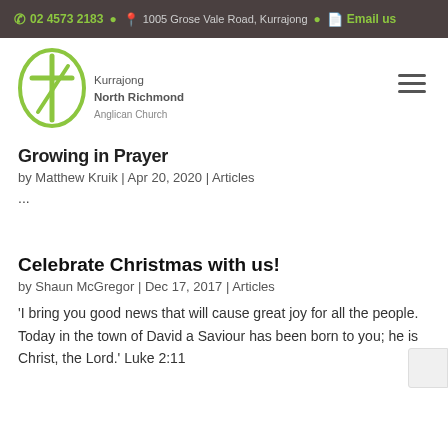02 4573 2183  1005 Grose Vale Road, Kurrajong  Email us
[Figure (logo): Kurrajong North Richmond Anglican Church logo — green circle with cross symbol]
Growing in Prayer
by Matthew Kruik | Apr 20, 2020 | Articles
...
Celebrate Christmas with us!
by Shaun McGregor | Dec 17, 2017 | Articles
'I bring you good news that will cause great joy for all the people. Today in the town of David a Saviour has been born to you; he is Christ, the Lord.' Luke 2:11